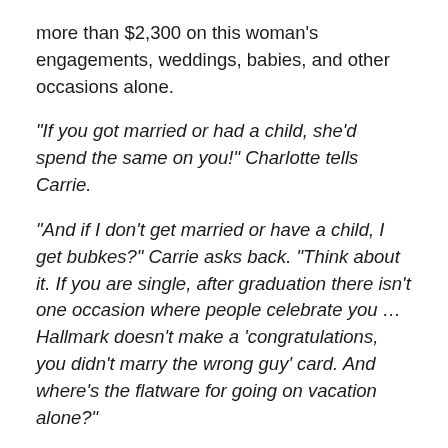more than $2,300 on this woman's engagements, weddings, babies, and other occasions alone.
“If you got married or had a child, she’d spend the same on you!” Charlotte tells Carrie.
“And if I don’t get married or have a child, I get bubkes?” Carrie asks back. “Think about it. If you are single, after graduation there isn’t one occasion where people celebrate you … Hallmark doesn’t make a ‘congratulations, you didn’t marry the wrong guy’ card. And where’s the flatware for going on vacation alone?”
“We have birthdays,” Charlotte replies.
“We all have birthdays,” says Carrie. “That’s a wash.”
So yesterday, just like I’ve had after buying gifts for other